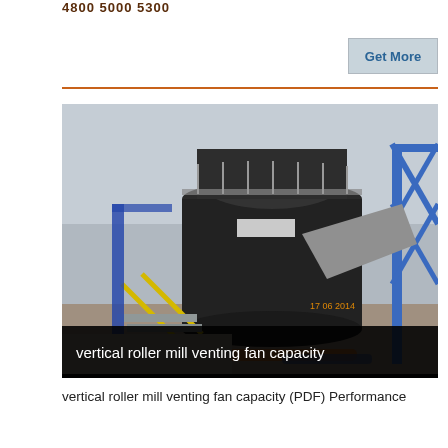4800 5000 5300
Get More
[Figure (photo): Industrial vertical roller mill at a construction or cement plant site, showing large cylindrical grinding machine with stairs, railings, blue steel framework, pipes and ductwork]
vertical roller mill venting fan capacity
vertical roller mill venting fan capacity (PDF) Performance